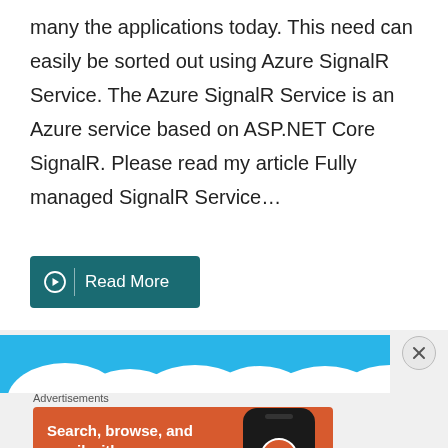many the applications today. This need can easily be sorted out using Azure SignalR Service. The Azure SignalR Service is an Azure service based on ASP.NET Core SignalR. Please read my article Fully managed SignalR Service…
Read More
[Figure (screenshot): Blue banner with cloud shapes at bottom, DuckDuckGo advertisement]
Advertisements
[Figure (advertisement): DuckDuckGo ad: Search, browse, and email with more privacy. All in One Free App. Shows phone with DuckDuckGo logo.]